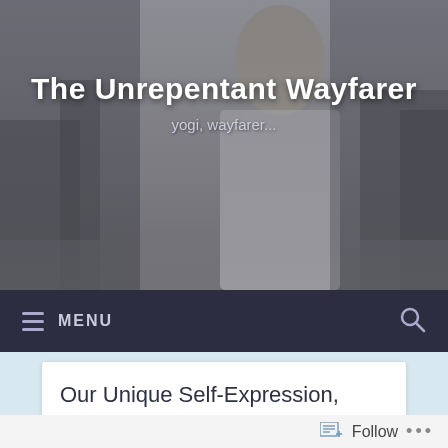[Figure (photo): Grayscale hero photo of a woman with light hair, looking upward, outdoors with trees in background]
The Unrepentant Wayfarer
yogi, wayfarer...
≡ MENU
Our Unique Self-Expression, instead of Mirror Mirror...
[Figure (photo): Grayscale photo of a person with sunglasses, partially cropped at bottom of page]
Follow ...